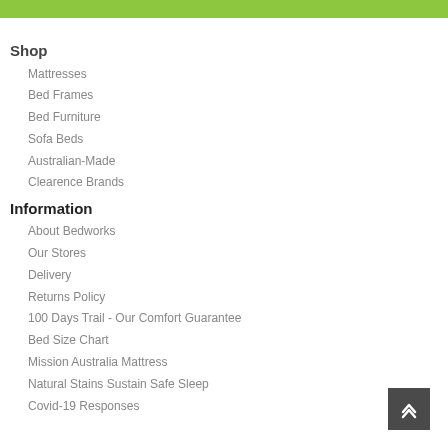Shop
Mattresses
Bed Frames
Bed Furniture
Sofa Beds
Australian-Made
Clearence Brands
Information
About Bedworks
Our Stores
Delivery
Returns Policy
100 Days Trail - Our Comfort Guarantee
Bed Size Chart
Mission Australia Mattress
Natural Stains Sustain Safe Sleep
Covid-19 Responses